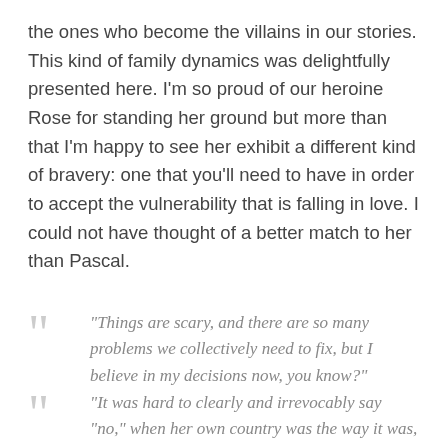the ones who become the villains in our stories. This kind of family dynamics was delightfully presented here. I'm so proud of our heroine Rose for standing her ground but more than that I'm happy to see her exhibit a different kind of bravery: one that you'll need to have in order to accept the vulnerability that is falling in love. I could not have thought of a better match to her than Pascal.
“Things are scary, and there are so many problems we collectively need to fix, but I believe in my decisions now, you know?”
“It was hard to clearly and irrevocably say “no,” when her own country was the way it was, and things could go sideways at any moment. It was